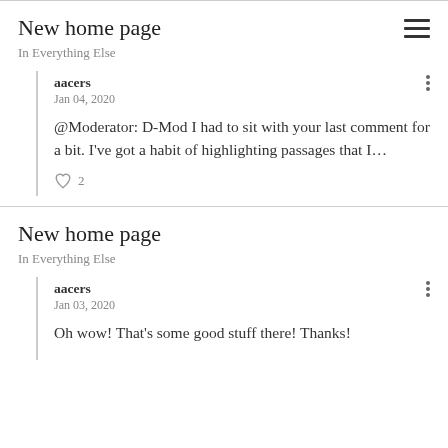New home page
In Everything Else
aacers
Jan 04, 2020
@Moderator: D-Mod I had to sit with your last comment for a bit. I've got a habit of highlighting passages that I…
2
New home page
In Everything Else
aacers
Jan 03, 2020
Oh wow! That's some good stuff there! Thanks!